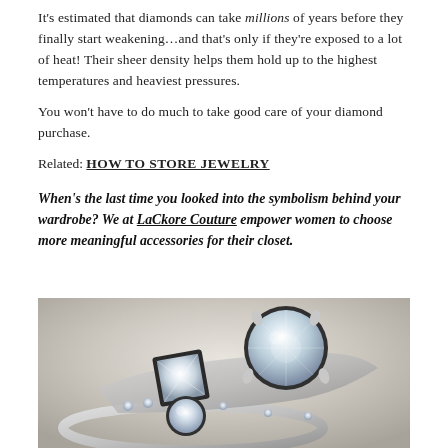It’s estimated that diamonds can take millions of years before they finally start weakening…and that’s only if they’re exposed to a lot of heat! Their sheer density helps them hold up to the highest temperatures and heaviest pressures.
You won’t have to do much to take good care of your diamond purchase.
Related: HOW TO STORE JEWELRY
When’s the last time you looked into the symbolism behind your wardrobe? We at LaCkore Couture empower women to choose more meaningful accessories for their closet.
[Figure (photo): Close-up photograph of diamond rings with round and princess-cut diamonds set in silver/white gold, showing sparkling facets against a light beige background.]